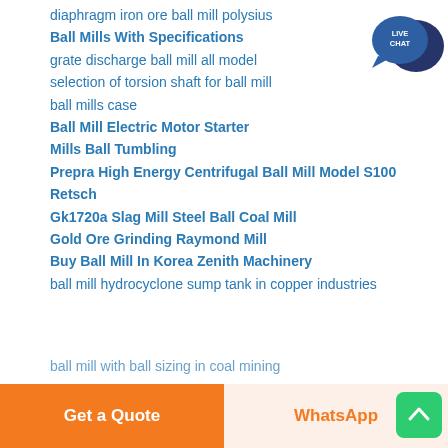diaphragm iron ore ball mill polysius
Ball Mills With Specifications
grate discharge ball mill all model
selection of torsion shaft for ball mill
ball mills case
Ball Mill Electric Motor Starter
Mills Ball Tumbling
Prepra High Energy Centrifugal Ball Mill Model S100 Retsch
Gk1720a Slag Mill Steel Ball Coal Mill
Gold Ore Grinding Raymond Mill
Buy Ball Mill In Korea Zenith Machinery
ball mill hydrocyclone sump tank in copper industries
[Figure (illustration): Live Chat speech bubble icon with dark blue color, text LIVE CHAT in white]
[Figure (illustration): Green rounded square scroll-to-top button with white upward arrow]
Get a Quote
WhatsApp